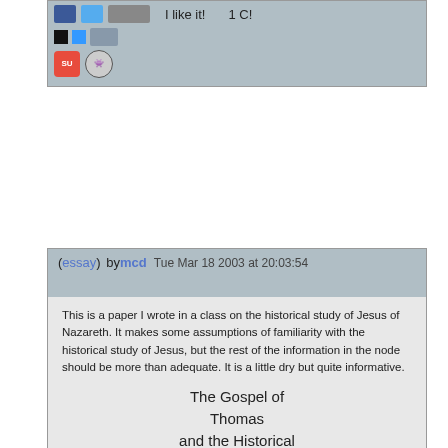[Figure (screenshot): Social sharing bar with icons (Facebook, Twitter, bookmarks, black/blue squares), 'I like it!' text, and '1 C!' count. Below: StumbleUpon and Reddit icons.]
(essay) by mcd Tue Mar 18 2003 at 20:03:54
This is a paper I wrote in a class on the historical study of Jesus of Nazareth. It makes some assumptions of familiarity with the historical study of Jesus, but the rest of the information in the node should be more than adequate. It is a little dry but quite informative.
The Gospel of Thomas and the Historical Jesus of Nazareth
"Eighty-two percent of the words ascribed to Jesus in the